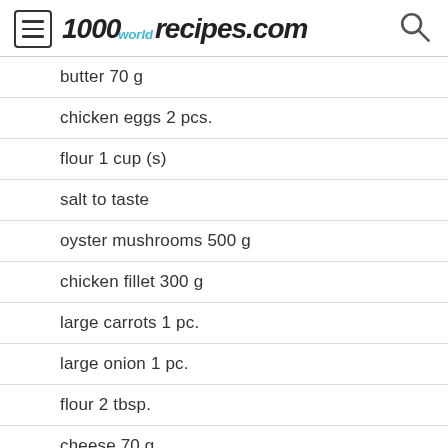1000world recipes.com
butter 70 g
chicken eggs 2 pcs.
flour 1 cup (s)
salt to taste
oyster mushrooms 500 g
chicken fillet 300 g
large carrots 1 pc.
large onion 1 pc.
flour 2 tbsp.
cheese 70 g
salt to taste